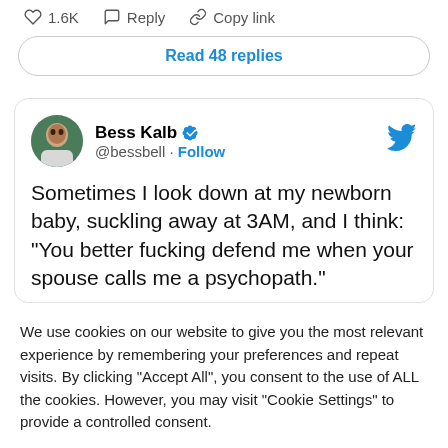1.6K   Reply   Copy link
Read 48 replies
Bess Kalb @bessbell · Follow
Sometimes I look down at my newborn baby, suckling away at 3AM, and I think: "You better fucking defend me when your spouse calls me a psychopath."
We use cookies on our website to give you the most relevant experience by remembering your preferences and repeat visits. By clicking "Accept All", you consent to the use of ALL the cookies. However, you may visit "Cookie Settings" to provide a controlled consent.
Cookie Settings
Accept All